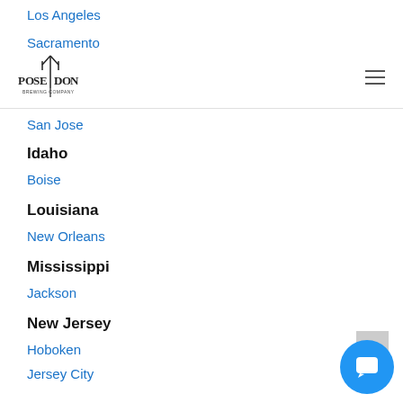Los Angeles
Sacramento
[Figure (logo): Poseidon Brewing Company logo with trident symbol]
San Jose
Idaho
Boise
Louisiana
New Orleans
Mississippi
Jackson
New Jersey
Hoboken
Jersey City